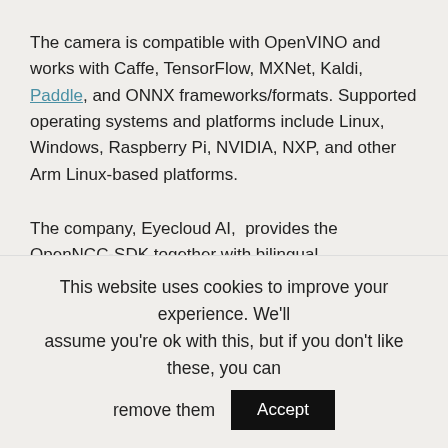The camera is compatible with OpenVINO and works with Caffe, TensorFlow, MXNet, Kaldi, Paddle, and ONNX frameworks/formats. Supported operating systems and platforms include Linux, Windows, Raspberry Pi, NVIDIA, NXP, and other Arm Linux-based platforms.
The company, Eyecloud AI,  provides the OpenNCC-SDK together with bilingual documentation in English and Chinese on Github. They also published a write-up specific to face blurring, where they explain a face detection model from Intel OpenVINO open model zoo is used before applying an efficient and simple pixel substitution algorithm to realize face pixel blurring on the
This website uses cookies to improve your experience. We'll assume you're ok with this, but if you don't like these, you can remove them  Accept